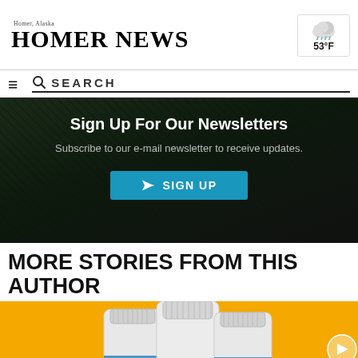Homer News — Homer, Alaska — 53°F
SEARCH
[Figure (screenshot): Newsletter sign-up banner with dark background: 'Sign Up For Our Newsletters — Subscribe to our e-mail newsletter to receive updates.' with a teal SIGN UP button]
MORE STORIES FROM THIS AUTHOR
[Figure (photo): Three white pill/supplement bottles on a yellow/orange background]